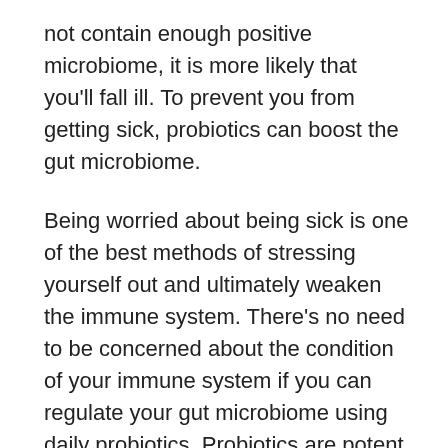not contain enough positive microbiome, it is more likely that you'll fall ill. To prevent you from getting sick, probiotics can boost the gut microbiome.
Being worried about being sick is one of the best methods of stressing yourself out and ultimately weaken the immune system. There's no need to be concerned about the condition of your immune system if you can regulate your gut microbiome using daily probiotics. Probiotics are potent and quiet, as you've learned. They're always helping your body, even when you're not thinking about it. This is fantastic news for those who have a lot going on at once. Probiotics are a great way to take care of your